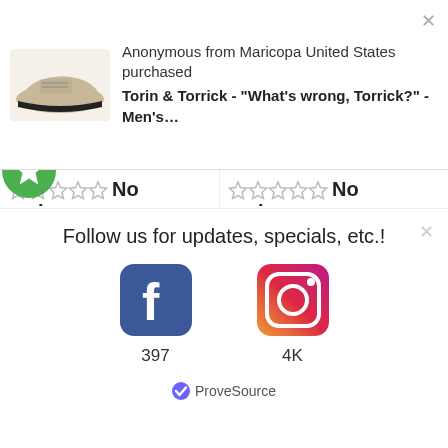[Figure (screenshot): Notification popup showing a shoe product image (beige/tan sneaker) and text about an anonymous purchase from Maricopa United States]
Anonymous from Maricopa United States purchased
Torin & Torrick - "What's wrong, Torrick?" - Men's...
☆☆☆☆☆ No reviews
☆☆☆☆☆ No reviews
[Figure (photo): Bed with dragon-themed comforter featuring a black dragon with fire on dark background]
[Figure (photo): Dragon-themed blanket/tapestry with black dragon with fire on dark background, close-up view]
Follow us for updates, specials, etc.!
[Figure (logo): Facebook logo icon]
397
[Figure (logo): Instagram logo icon]
4K
ProveSource